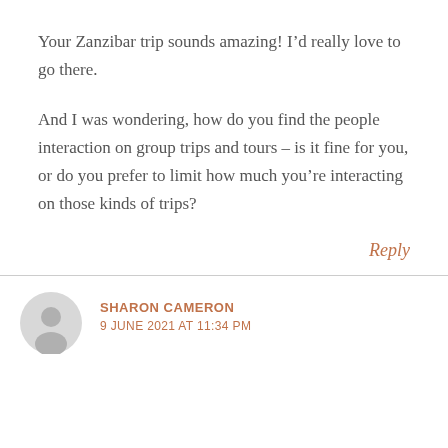Your Zanzibar trip sounds amazing! I’d really love to go there.
And I was wondering, how do you find the people interaction on group trips and tours – is it fine for you, or do you prefer to limit how much you’re interacting on those kinds of trips?
Reply
SHARON CAMERON
9 JUNE 2021 AT 11:34 PM